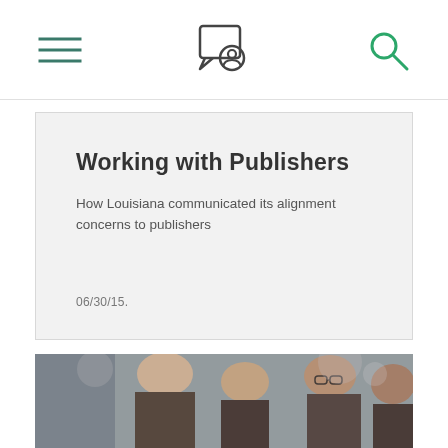Navigation bar with hamburger menu, center logo, and search icon
Working with Publishers
How Louisiana communicated its alignment concerns to publishers
06/30/15.
[Figure (photo): Group of people in a meeting or discussion, blurred/bokeh office background. Multiple individuals visible including a blonde woman, an Asian woman, a man with glasses, and others. Photo taken in a collaborative workspace setting.]